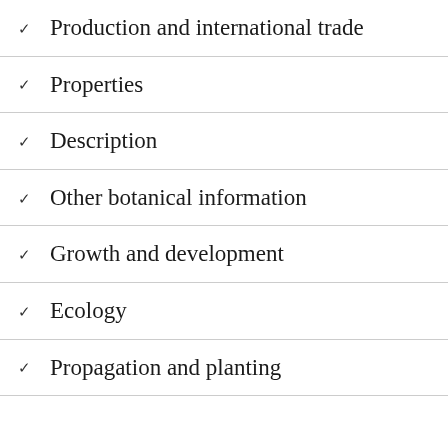Production and international trade
Properties
Description
Other botanical information
Growth and development
Ecology
Propagation and planting